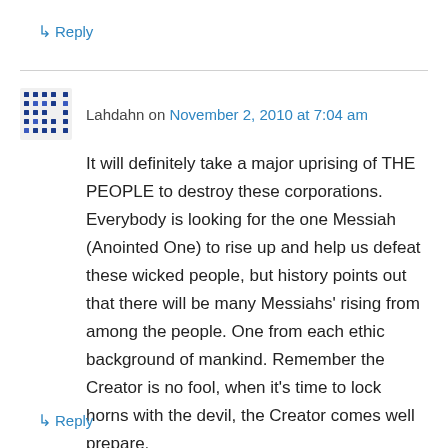↳ Reply
Lahdahn on November 2, 2010 at 7:04 am
It will definitely take a major uprising of THE PEOPLE to destroy these corporations. Everybody is looking for the one Messiah (Anointed One) to rise up and help us defeat these wicked people, but history points out that there will be many Messiahs' rising from among the people. One from each ethic background of mankind. Remember the Creator is no fool, when it's time to lock horns with the devil, the Creator comes well prepare.
↳ Reply